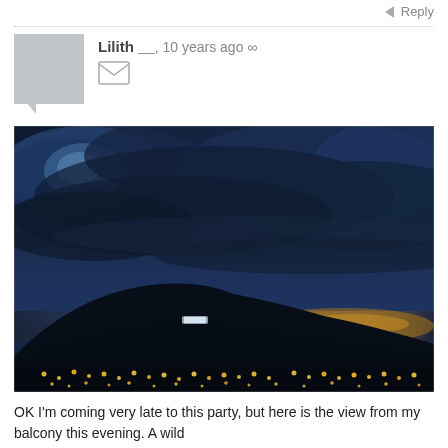Reply
Lilith __, 10 years ago ∞
[Figure (photo): Night-time city panorama with dramatic dark blue storm clouds overhead, a hillside silhouette in the midground, and city lights glowing golden and white along the bottom of the frame.]
OK I'm coming very late to this party, but here is the view from my balcony this evening. A wild